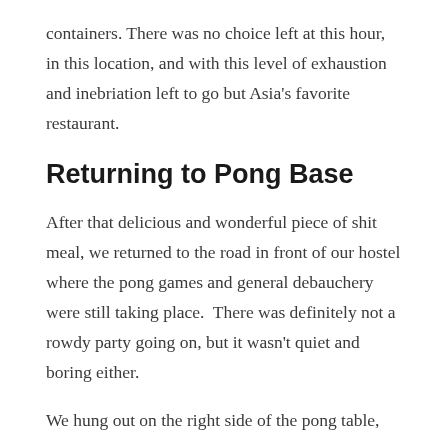containers. There was no choice left at this hour, in this location, and with this level of exhaustion and inebriation left to go but Asia's favorite restaurant.
Returning to Pong Base
After that delicious and wonderful piece of shit meal, we returned to the road in front of our hostel where the pong games and general debauchery were still taking place.  There was definitely not a rowdy party going on, but it wasn't quiet and boring either.
We hung out on the right side of the pong table,